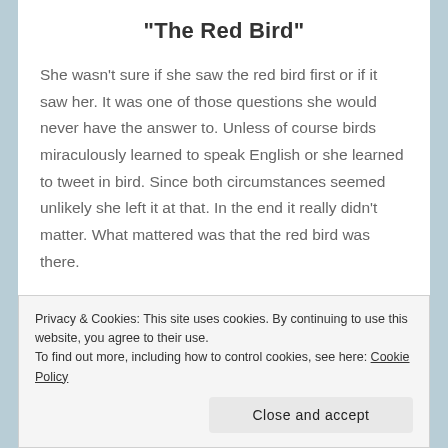“The Red Bird”
She wasn’t sure if she saw the red bird first or if it saw her. It was one of those questions she would never have the answer to. Unless of course birds miraculously learned to speak English or she learned to tweet in bird. Since both circumstances seemed unlikely she left it at that. In the end it really didn’t matter. What mattered was that the red bird was there.
The first time she had seen it, she had barely
Privacy & Cookies: This site uses cookies. By continuing to use this website, you agree to their use.
To find out more, including how to control cookies, see here: Cookie Policy
Close and accept